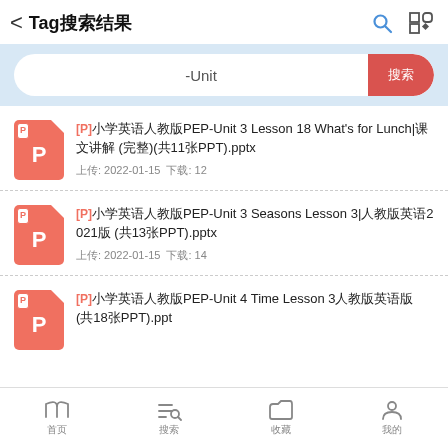Tag搜索结果
-Unit
P 小学英语人教版PEP-Unit 3 Lesson 18 What's for Lunch|课文讲解 (完整)(共11张PPT).pptx 上传: 2022-01-15  下载: 12
P 小学英语人教版PEP-Unit 3 Seasons Lesson 3|人教版英语2021版 (共13张PPT).pptx 上传: 2022-01-15  下载: 14
P 小学英语人教版PEP-Unit 4 Time Lesson 3人教版英语版 (共18张PPT).ppt
首页  搜索  收藏  我的